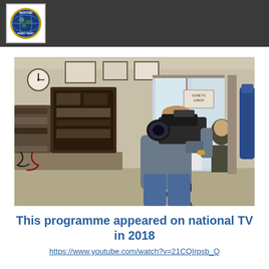[Figure (logo): Duxford Radio Trust circular logo with globe motif, gold border, on white background within dark grey header bar]
[Figure (photo): A cameraman operating a professional video camera on a tripod inside a radio museum or workshop, with vintage radio equipment on the left and other people visible in the background]
This programme appeared on national TV in 2018
https://www.youtube.com/watch?v=21CQIrpsb_Q